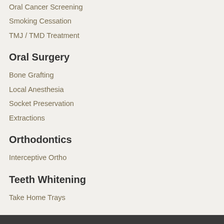Oral Cancer Screening
Smoking Cessation
TMJ / TMD Treatment
Oral Surgery
Bone Grafting
Local Anesthesia
Socket Preservation
Extractions
Orthodontics
Interceptive Ortho
Teeth Whitening
Take Home Trays